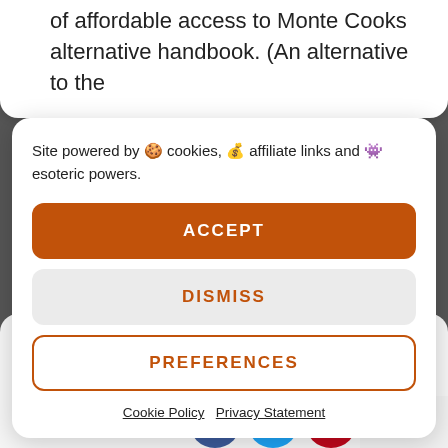of affordable access to Monte Cooks alternative handbook. (An alternative to the
Site powered by 🍪 cookies, 💰 affiliate links and 👾 esoteric powers.
ACCEPT
DISMISS
PREFERENCES
Cookie Policy  Privacy Statement
So I approach this review as someone who's not read Arcana Unearthed (but have flicked